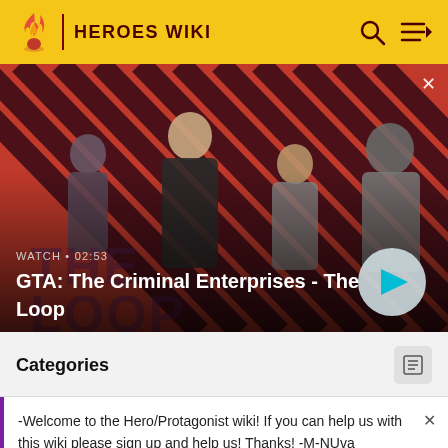HEROES WIKI
[Figure (screenshot): GTA: The Criminal Enterprises - The Loop video thumbnail with four characters on a red diagonal stripe background, showing WATCH • 02:53 label and a play button]
Categories
-Welcome to the Hero/Protagonist wiki! If you can help us with this wiki please sign up and help us! Thanks! -M-NUva